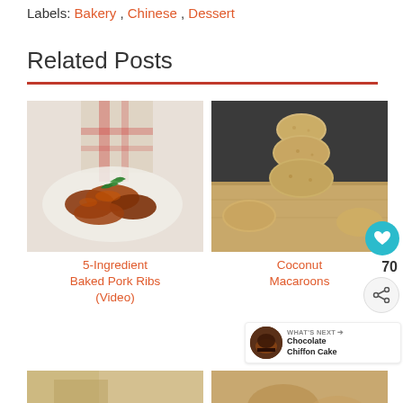Labels: Bakery , Chinese , Dessert
Related Posts
[Figure (photo): Photo of 5-Ingredient Baked Pork Ribs — glazed ribs garnished with green herbs on a white plate with a checkered cloth background]
5-Ingredient Baked Pork Ribs (Video)
[Figure (photo): Photo of Coconut Macaroons — stacked round coconut macaroon cookies on a wooden cutting board with dark background]
Coconut Macaroons
[Figure (photo): Partial bottom-left image — beginning of another food post photo]
[Figure (photo): Partial bottom-right image — beginning of another food post photo]